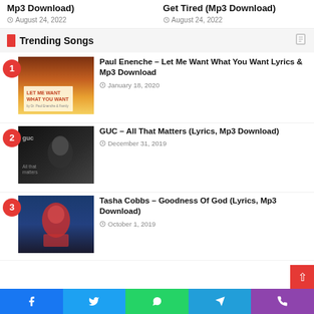Mp3 Download)
Get Tired (Mp3 Download)
August 24, 2022
August 24, 2022
Trending Songs
Paul Enenche – Let Me Want What You Want Lyrics & Mp3 Download — January 18, 2020
GUC – All That Matters (Lyrics, Mp3 Download) — December 31, 2019
Tasha Cobbs – Goodness Of God (Lyrics, Mp3 Download) — October 1, 2019
Facebook | Twitter | WhatsApp | Telegram | Phone